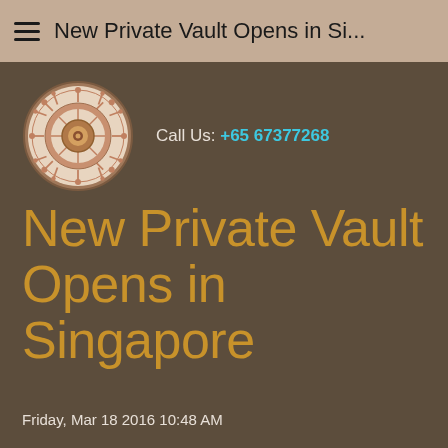≡  New Private Vault Opens in Si...
[Figure (logo): Circular decorative logo with mandala/wheel pattern in terracotta and cream tones]
Call Us: +65 67377268
New Private Vault Opens in Singapore
Friday, Mar 18 2016 10:48 AM